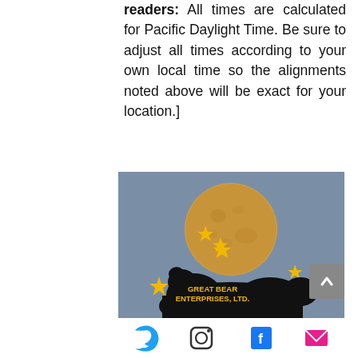readers: All times are calculated for Pacific Daylight Time. Be sure to adjust all times according to your own local time so the alignments noted above will be exact for your location.]
[Figure (illustration): Advertisement image for Great Bear Enterprises, Ltd. showing a large full moon with golden stars around it and a black bear silhouette in the foreground with the text 'GREAT BEAR ENTERPRISES, LTD.' in gold lettering. A gray scroll-to-top button is visible in the bottom-right corner of the image.]
[Figure (other): Social media icons row: Twitter bird icon (blue), Instagram camera icon (black outline), Facebook 'f' icon (blue), and email envelope icon (pink/magenta).]